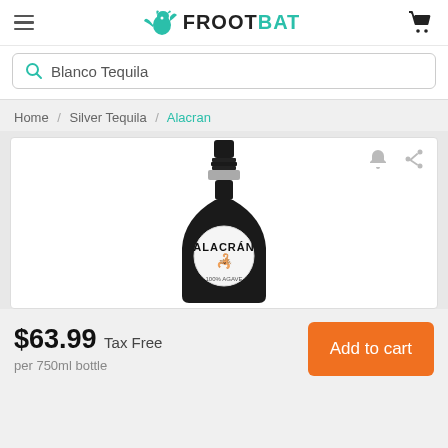FROOTBAT
Blanco Tequila
Home / Silver Tequila / Alacran
[Figure (photo): Alacran tequila bottle, dark/black matte finish with circular white label bearing the ALACRAN brand name and scorpion logo]
$63.99 Tax Free
per 750ml bottle
Add to cart